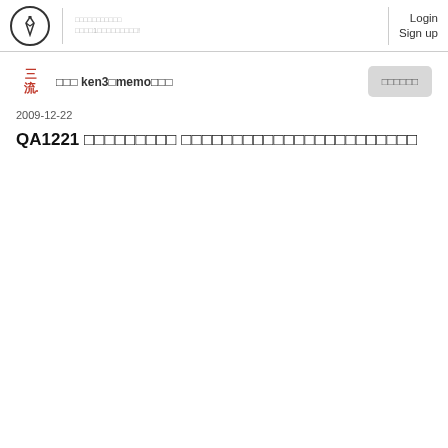Login  Sign up
[Figure (logo): Ink pen nib icon inside a circle, site logo]
三流  □□□ ken3□memo□□□
□□□□□□
2009-12-22
QA1221 □□□□□□□□□ □□□□□□□□□□□□□□□□□□□□□□□